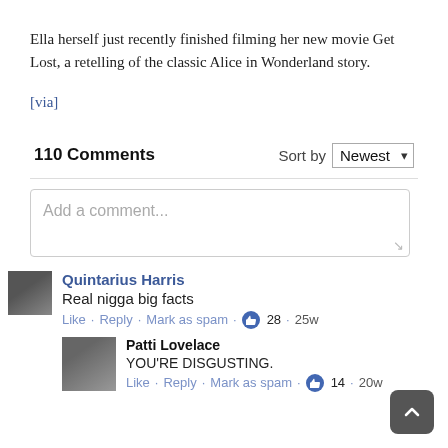Ella herself just recently finished filming her new movie Get Lost, a retelling of the classic Alice in Wonderland story.
[via]
110 Comments  Sort by Newest
Add a comment...
Quintarius Harris: Real nigga big facts
Like · Reply · Mark as spam · 28 · 25w
Patti Lovelace: YOU'RE DISGUSTING.
Like · Reply · Mark as spam · 14 · 20w